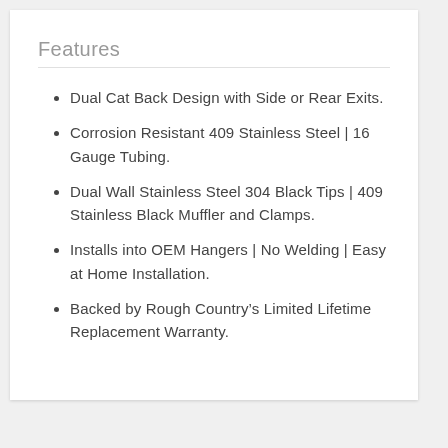Features
Dual Cat Back Design with Side or Rear Exits.
Corrosion Resistant 409 Stainless Steel | 16 Gauge Tubing.
Dual Wall Stainless Steel 304 Black Tips | 409 Stainless Black Muffler and Clamps.
Installs into OEM Hangers | No Welding | Easy at Home Installation.
Backed by Rough Country's Limited Lifetime Replacement Warranty.